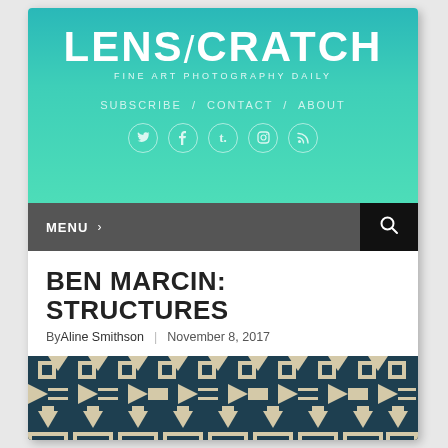[Figure (logo): Lenscratch logo — white text on teal gradient background with tagline FINE ART PHOTOGRAPHY DAILY]
SUBSCRIBE  /  CONTACT  /  ABOUT
[Figure (infographic): Social media icons: Twitter, Facebook, Tumblr, Instagram, RSS feed — white circle outlines on teal background]
[Figure (infographic): Navigation bar with MENU > on dark gray background and search icon on black background]
BEN MARCIN: STRUCTURES
By Aline Smithson  |  November 8, 2017
[Figure (photo): Geometric quilt-like pattern in dark teal and cream/white, featuring angular arrow and step shapes in repeating rows]